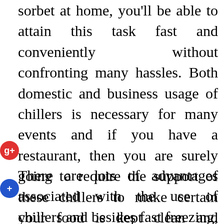sorbet at home, you'll be able to attain this task fast and conveniently without confronting many hassles. Both domestic and business usage of chillers is necessary for many events and if you have a restaurant, then you are surely going to require the support of these chillers to make certain your food is kept clean and doesn't go rancid after a day. Hence these machines can be found in many sizes and everything you want to do is be sure of this one that suits one of the very best considering the load you put onto it.
There are lots of advantages associated with the use of chillers and besides fast freezing, there are numerous other significant advantages which you're able to derive from using those machines. It functions